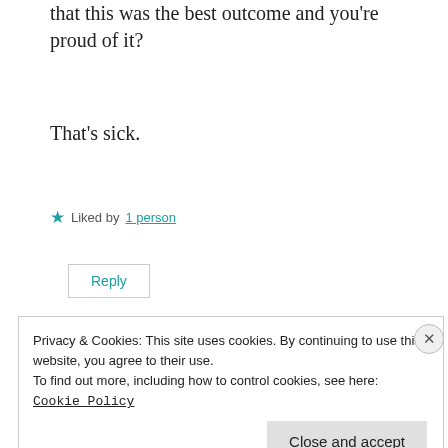that this was the best outcome and you're proud of it?
That's sick.
★ Liked by 1 person
Reply
Kathryn Davies
Privacy & Cookies: This site uses cookies. By continuing to use this website, you agree to their use.
To find out more, including how to control cookies, see here: Cookie Policy
Close and accept